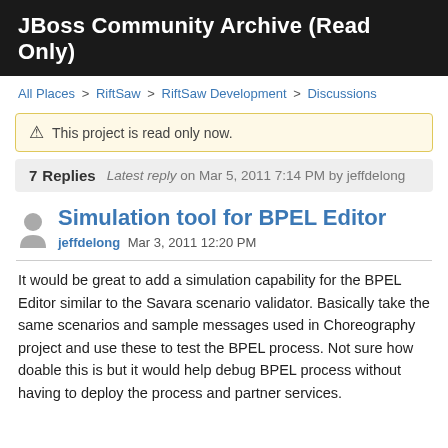JBoss Community Archive (Read Only)
All Places > RiftSaw > RiftSaw Development > Discussions
⚠ This project is read only now.
7 Replies   Latest reply on Mar 5, 2011 7:14 PM by jeffdelong
Simulation tool for BPEL Editor
jeffdelong  Mar 3, 2011 12:20 PM
It would be great to add a simulation capability for the BPEL Editor similar to the Savara scenario validator. Basically take the same scenarios and sample messages used in Choreography project and use these to test the BPEL process. Not sure how doable this is but it would help debug BPEL process without having to deploy the process and partner services.